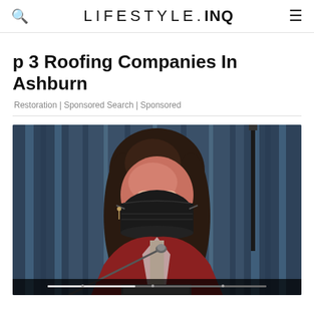LIFESTYLE.INQ
p 3 Roofing Companies In Ashburn
Restoration | Sponsored Search | Sponsored
[Figure (photo): A woman wearing a black face mask and dark red blazer seated at a desk with a microphone, in front of dark blue curtains. Video player screenshot from a news or press conference.]